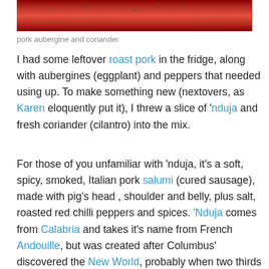[Figure (photo): Close-up photo of pork with aubergine and coriander in a red tomato-based sauce with green herb garnish]
pork aubergine and coriander
I had some leftover roast pork in the fridge, along with aubergines (eggplant) and peppers that needed using up. To make something new (nextovers, as Karen eloquently put it), I threw a slice of ‘nduja and fresh coriander (cilantro) into the mix.
For those of you unfamiliar with ‘nduja, it’s a soft, spicy, smoked, Italian pork salumi (cured sausage), made with pig’s head , shoulder and belly, plus salt, roasted red chilli peppers and spices. ‘Nduja comes from Calabria and takes it’s name from French Andouille, but was created after Columbus’ discovered the New World, probably when two thirds of Italy was ruled by the Crown of Aragon, which introduced chilli peppers and tomatoes to the country.